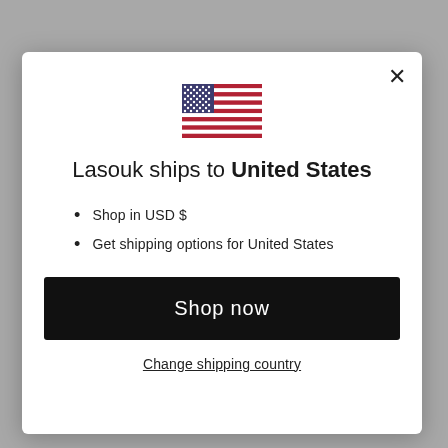[Figure (illustration): US flag emoji/icon displayed centered at top of modal dialog]
Lasouk ships to United States
Shop in USD $
Get shipping options for United States
Shop now
Change shipping country